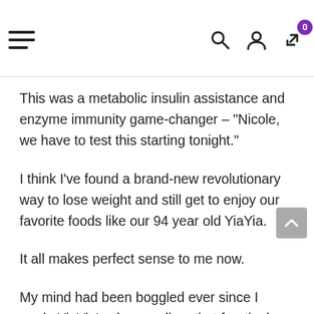Navigation header with hamburger menu, search, user, and share icons (badge: 0)
This was a metabolic insulin assistance and enzyme immunity game-changer – “Nicole, we have to test this starting tonight.”
I think I’ve found a brand-new revolutionary way to lose weight and still get to enjoy our favorite foods like our 94 year old YiaYia.
It all makes perfect sense to me now.
My mind had been boggled ever since I made YiaYia’s phone call on that frantic day, wondering how she can eat